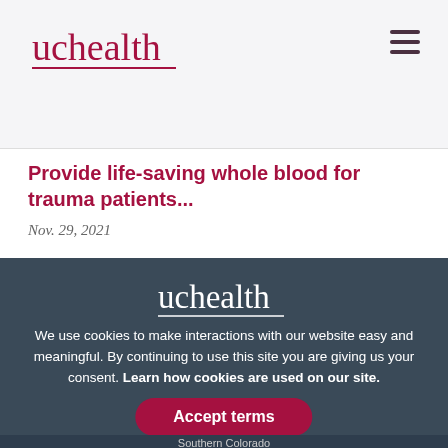[Figure (logo): UCHealth logo in dark red/maroon serif font with underline, top left of page header]
Provide life-saving whole blood for trauma patients...
Nov. 29, 2021
[Figure (logo): UCHealth logo in white serif font with underline, centered in dark cookie banner]
We use cookies to make interactions with our website easy and meaningful. By continuing to use this site you are giving us your consent. Learn how cookies are used on our site.
Accept terms
Southern Colorado